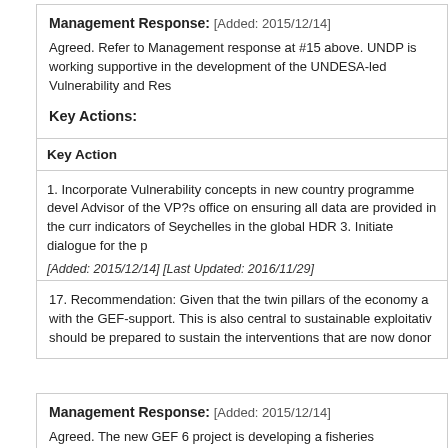Management Response: [Added: 2015/12/14]
Agreed. Refer to Management response at #15 above. UNDP is working supportive in the development of the UNDESA-led Vulnerability and Res
Key Actions:
| Key Action |
| --- |
| 1. Incorporate Vulnerability concepts in new country programme devel Advisor of the VP?s office on ensuring all data are provided in the curr indicators of Seychelles in the global HDR 3. Initiate dialogue for the p [Added: 2015/12/14] [Last Updated: 2016/11/29] |
17. Recommendation: Given that the twin pillars of the economy a with the GEF-support. This is also central to sustainable exploitativ should be prepared to sustain the interventions that are now donor
Management Response: [Added: 2015/12/14]
Agreed. The new GEF 6 project is developing a fisheries component bu